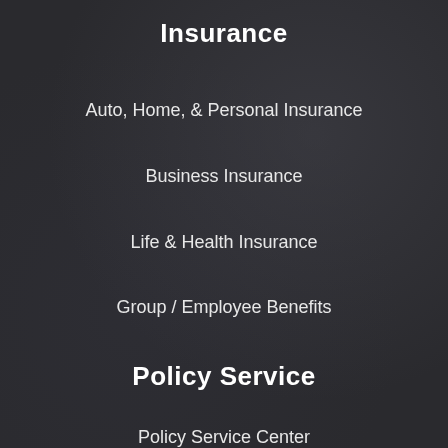Insurance
Auto, Home, & Personal Insurance
Business Insurance
Life & Health Insurance
Group / Employee Benefits
Policy Service
Policy Service Center